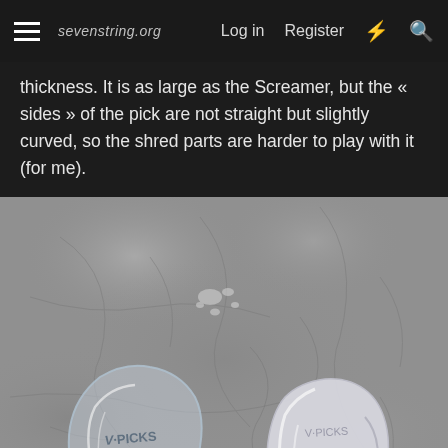sevenstring.org — Log in | Register
thickness. It is as large as the Screamer, but the « sides » of the pick are not straight but slightly curved, so the shred parts are harder to play with it (for me).
[Figure (photo): Two guitar picks photographed on a stone surface. Left pick is transparent/clear labeled V-Picks Bb. Right pick is white/pearl colored.]